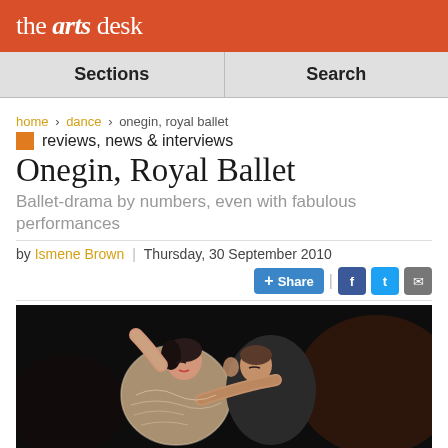the arts desk
Sections | Search
home › dance › onegin, royal ballet
reviews, news & interviews
Onegin, Royal Ballet
Ballet-drama by numbers, even with fabulous performances
by Ismene Brown | Thursday, 30 September 2010
[Figure (photo): Two ballet dancers in an intimate embrace on a dark stage. A woman in a lace costume leans into a man, both with eyes closed, performing in Onegin at the Royal Ballet.]